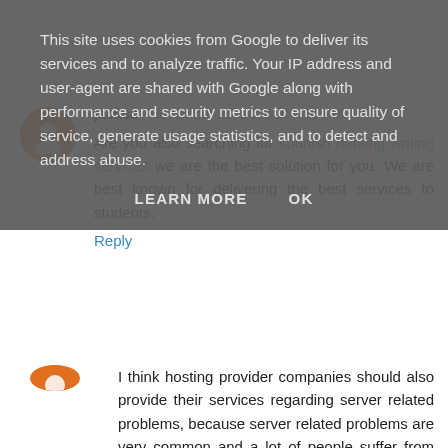This site uses cookies from Google to deliver its services and to analyze traffic. Your IP address and user-agent are shared with Google along with performance and security metrics to ensure quality of service, generate usage statistics, and to detect and address abuse.
LEARN MORE   OK
I think hosting provider companies should also provide their services regarding server related problems, because server related problems are very common and a lot of people suffer from this. Essay Writing Service
Reply
jackso  November 28, 2020 at 4:10 PM
Are you also searching for spanish nursing writing services we are the best solution for you. We are best known for delivering the best services to students.
Reply